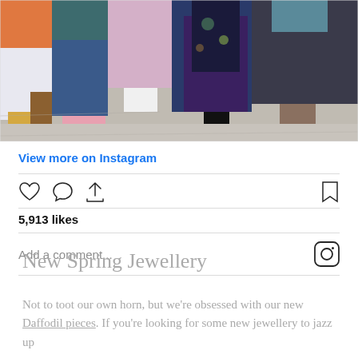[Figure (screenshot): Instagram post showing the lower halves/legs and feet of a group of people standing on a concrete floor, wearing various outfits and shoes including ripped jeans, boots, pink sneakers, floral dress, and sandals.]
View more on Instagram
5,913 likes
Add a comment...
New Spring Jewellery
Not to toot our own horn, but we're obsessed with our new Daffodil pieces. If you're looking for some new jewellery to jazz up